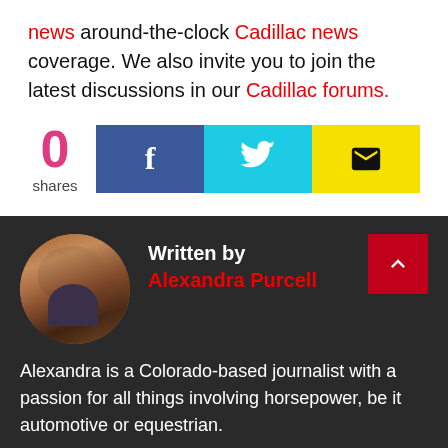news around-the-clock Cadillac news coverage. We also invite you to join the latest discussions in our Cadillac forums.
[Figure (infographic): Social share bar showing 0 shares, with Facebook (blue), Twitter (cyan), and Email (yellow) buttons]
Written by Alexandra Purcell
Alexandra is a Colorado-based journalist with a passion for all things involving horsepower, be it automotive or equestrian.